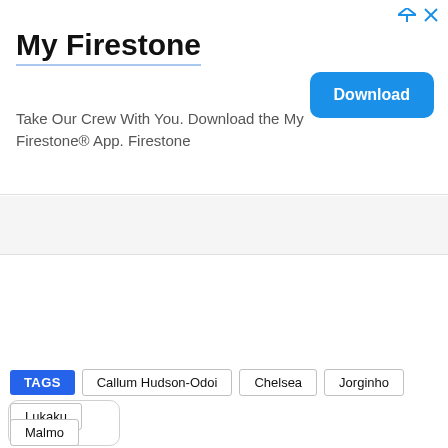[Figure (screenshot): Advertisement banner for My Firestone app with title, description text, and Download button]
My Firestone
Take Our Crew With You. Download the My Firestone® App. Firestone
[Figure (screenshot): Collapse/chevron up button in a tab-style UI element]
TAGS  Callum Hudson-Odoi  Chelsea  Jorginho  Lukaku  Malmo